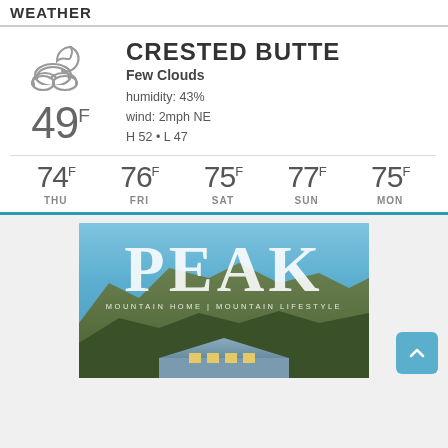WEATHER
CRESTED BUTTE
Few Clouds
humidity: 43%
wind: 2mph NE
H 52 • L 47
[Figure (infographic): 5-day weather forecast showing THU 74F, FRI 76F, SAT 75F, SUN 77F, MON 75F]
[Figure (photo): PEAK Mountain Home | Mountain Lifestyle magazine advertisement with mountain background]